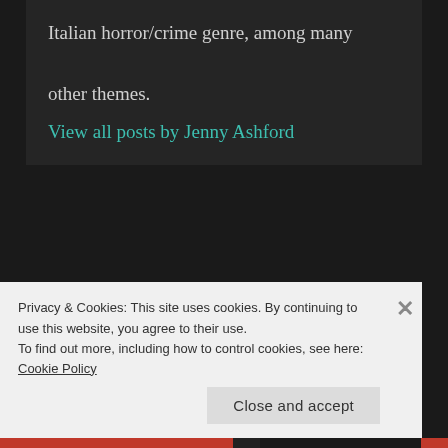Italian horror/crime genre, among many other themes.
View all posts by Jenny Ashford
Leave a Reply
Your email address will not be published.
Privacy & Cookies: This site uses cookies. By continuing to use this website, you agree to their use.
To find out more, including how to control cookies, see here: Cookie Policy
Close and accept